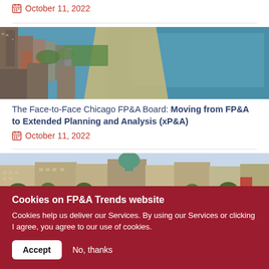October 11, 2022
[Figure (photo): Aerial view of Chicago lakefront with skyscrapers and sandy beach along Lake Michigan]
The Face-to-Face Chicago FP&A Board: Moving from FP&A to Extended Planning and Analysis (xP&A)
October 11, 2022
[Figure (photo): Aerial view of European city square with ornate historic buildings and greenery]
Cookies on FP&A Trends website
Cookies help us deliver our Services. By using our Services or clicking I agree, you agree to our use of cookies.
Accept
No, thanks